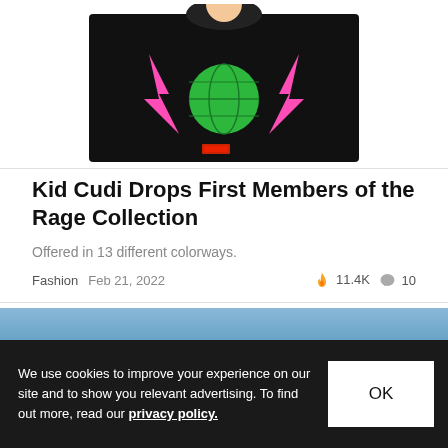[Figure (photo): Partial view of a black graphic t-shirt with a cartoon character holding a green globe/Earth, with pink lightning bolts on either side. Shown on a white background with a thin border.]
Kid Cudi Drops First Members of the Rage Collection
Offered in 13 different colorways.
Fashion  Feb 21, 2022  🔥 11.4K  💬 10
[Figure (photo): Partial view of a second article image showing a blue sky gradient with dark elements at the bottom.]
We use cookies to improve your experience on our site and to show you relevant advertising. To find out more, read our privacy policy.